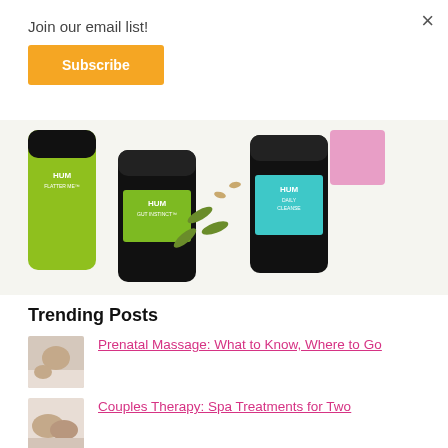×
Join our email list!
Subscribe
[Figure (photo): HUM nutrition supplement bottles (Flatter Me, Gut Instinct, Daily Cleanse) with capsules scattered on white background]
Trending Posts
[Figure (photo): Prenatal massage thumbnail]
Prenatal Massage: What to Know, Where to Go
[Figure (photo): Couples spa treatment thumbnail]
Couples Therapy: Spa Treatments for Two
[Figure (photo): Spa/cleanse thumbnail (partially visible)]